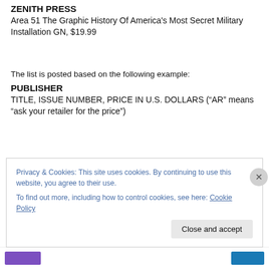ZENITH PRESS
Area 51 The Graphic History Of America's Most Secret Military Installation GN, $19.99
The list is posted based on the following example:
PUBLISHER
TITLE, ISSUE NUMBER, PRICE IN U.S. DOLLARS (“AR” means “ask your retailer for the price”)
Privacy & Cookies: This site uses cookies. By continuing to use this website, you agree to their use.
To find out more, including how to control cookies, see here: Cookie Policy